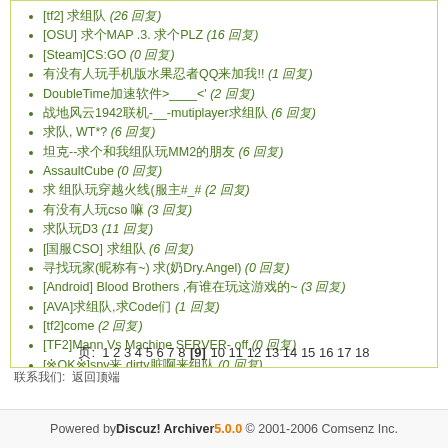[tf2] 求组队 (26 回复)
[OSU] 求个MAP .3. 求个PLZ (16 回复)
[Steam]CS:GO (0 回复)
有没有人玩手机版水果忍者QQ来加我!! (1 回复)
DoubleTime加速软件>____<' (2 回复)
战地风云1942联机-__-mutiplayer求组队 (6 回复)
求队, WT*? (6 回复)
坦克--求个和我组队玩MM2的朋友 (6 回复)
AssaultCube (0 回复)
求 组队玩穿越火线(服主#_# (2 回复)
有没有人玩cso 嘛 (3 回复)
求队玩D3 (11 回复)
[国服CSO] 求组队 (6 回复)
寻找玩家(昵称有~) 求(奶Dry.Angel) (0 回复)
[Android] Blood Brothers ,有谁在玩这游戏的~ (3 回复)
[AVA]求组队,求Code们 (1 回复)
[tf2]come (2 回复)
[TF2]Mann Vs Machine SERVER- off (0 回复)
[※OK※]spy来 dirty脏啊来组队 (0 回复)
[TF2]Mann vs. Machine(ser组队) (2 回复)
[TF2]MvM求组队 (12 回复)
Who Have Play CrimeCraft (2 回复)
页: 1 2 3 4 5 6 7 8 [9] 10 11 12 13 14 15 16 17 18
联系我们: 返回顶端
Powered by Discuz! Archiver 5.0.0 © 2001-2006 Comsenz Inc.